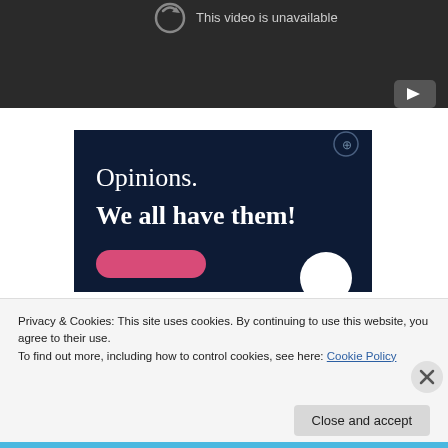[Figure (screenshot): YouTube video player showing 'This video is unavailable' message on dark background with a play button icon in the bottom right corner]
[Figure (screenshot): Advertisement banner with dark navy background showing text 'Opinions. We all have them!' with a pink button at the bottom and a white circle element]
Privacy & Cookies: This site uses cookies. By continuing to use this website, you agree to their use.
To find out more, including how to control cookies, see here: Cookie Policy
Close and accept